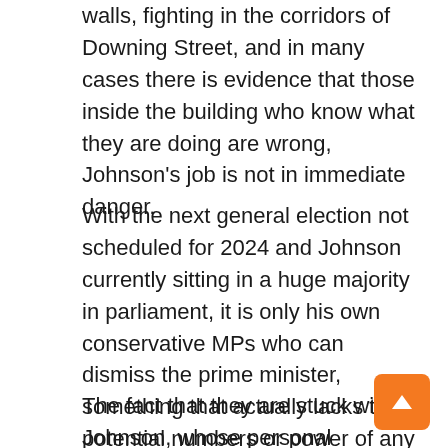walls, fighting in the corridors of Downing Street, and in many cases there is evidence that those inside the building who know what they are doing are wrong, Johnson's job is not in immediate danger.
With the next general election not scheduled for 2024 and Johnson currently sitting in a huge majority in parliament, it is only his own conservative MPs who can dismiss the prime minister, something that actually lacks the potential numbers or power of any rebels.
The fact that they are stuck with Johnson, whose personal approval rating has sunk since the scandal began last year, is confusing the Conservatives. They are concerned that Johnson has done irreparable damage to his own image in the eyes of